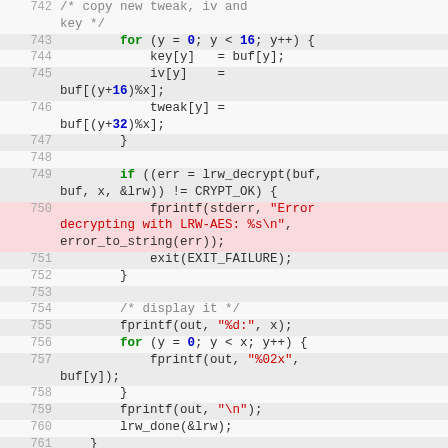[Figure (screenshot): Source code listing lines 742-763 showing C code for LRW-AES decryption loop, including key/iv/tweak copy, lrw_decrypt call, error handling, fprintf display loop, and fclose.]